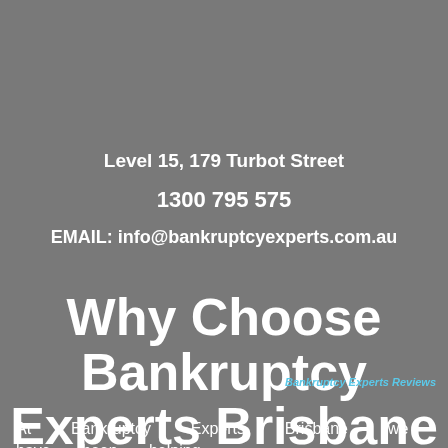Level 15, 179 Turbot Street
1300 795 575
EMAIL: info@bankruptcyexperts.com.au
Why Choose Bankruptcy Experts Brisbane
Bankruptcy Experts Reviews
At Bankruptcy Experts Brisbane we have been helping